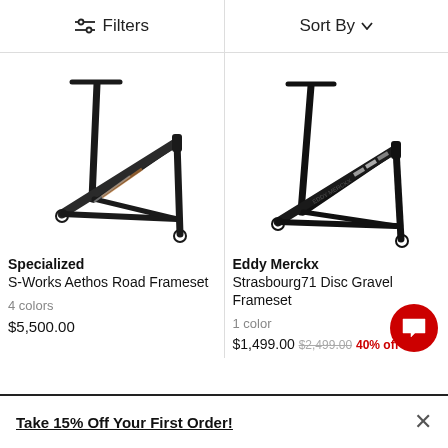Filters | Sort By
[Figure (photo): Specialized S-Works Aethos Road Frameset bicycle frame in black with copper/silver accents, left side view]
Specialized
S-Works Aethos Road Frameset
4 colors
$5,500.00
[Figure (photo): Eddy Merckx Strasbourg71 Disc Gravel Frameset bicycle frame in black with silver/grey accents, right side view]
Eddy Merckx
Strasbourg71 Disc Gravel Frameset
1 color
$1,499.00 $2,499.00 40% off
Take 15% Off Your First Order!